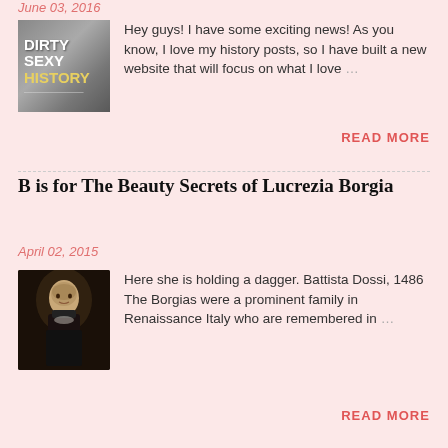June 03, 2016
[Figure (illustration): Book cover with bold text reading DIRTY SEXY HISTORY on a grey/brown background]
Hey guys! I have some exciting news! As you know, I love my history posts, so I have built a new website that will focus on what I love …
READ MORE
B is for The Beauty Secrets of Lucrezia Borgia
April 02, 2015
[Figure (photo): Portrait painting of a young woman in dark clothing, possibly from the Renaissance period, holding something, styled as Battista Dossi 1486]
Here she is holding a dagger. Battista Dossi, 1486 The Borgias were a prominent family in Renaissance Italy who are remembered in …
READ MORE